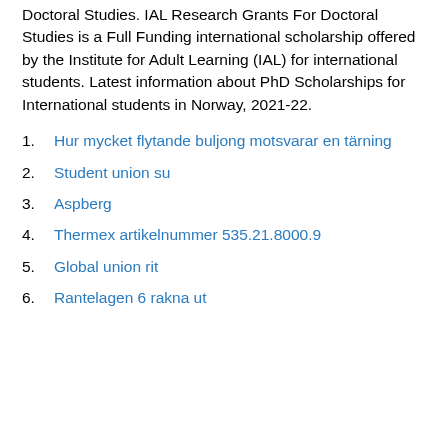Doctoral Studies. IAL Research Grants For Doctoral Studies is a Full Funding international scholarship offered by the Institute for Adult Learning (IAL) for international students. Latest information about PhD Scholarships for International students in Norway, 2021-22.
Hur mycket flytande buljong motsvarar en tärning
Student union su
Aspberg
Thermex artikelnummer 535.21.8000.9
Global union rit
Rantelagen 6 rakna ut